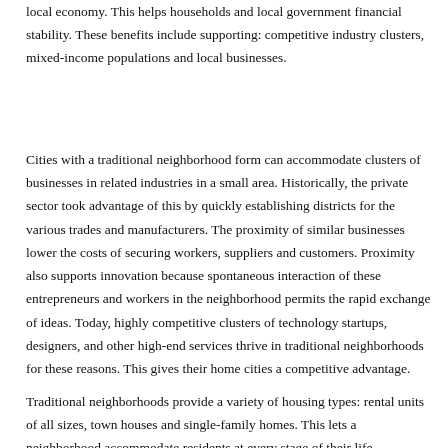local economy. This helps households and local government financial stability. These benefits include supporting: competitive industry clusters, mixed-income populations and local businesses.
Cities with a traditional neighborhood form can accommodate clusters of businesses in related industries in a small area. Historically, the private sector took advantage of this by quickly establishing districts for the various trades and manufacturers. The proximity of similar businesses lower the costs of securing workers, suppliers and customers. Proximity also supports innovation because spontaneous interaction of these entrepreneurs and workers in the neighborhood permits the rapid exchange of ideas. Today, highly competitive clusters of technology startups, designers, and other high-end services thrive in traditional neighborhoods for these reasons. This gives their home cities a competitive advantage.
Traditional neighborhoods provide a variety of housing types: rental units of all sizes, town houses and single-family homes. This lets a neighborhood accommodate residents at every stage of their life